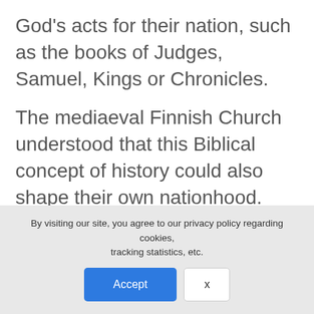God's acts for their nation, such as the books of Judges, Samuel, Kings or Chronicles.
The mediaeval Finnish Church understood that this Biblical concept of history could also shape their own nationhood. The best place to understand this is Turku, in the region of Finland Proper. The first time we visited the city we discovered a monument in honour of Mikael Agricola, the 16th century Finnish reformer (also known as the father of the Finnish written language), next to the
By visiting our site, you agree to our privacy policy regarding cookies, tracking statistics, etc.